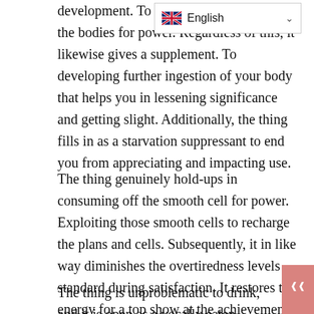development. To consume of aside through the bodies for power. Regardless of this, it likewise gives a supplement. To developing further ingestion of your body that helps you in lessening significance and getting slight. Additionally, the thing fills in as a starvation suppressant to end you from appreciating and impacting use.
The thing genuinely hold-ups in consuming off the smooth cell for power. Exploiting those smooth cells to recharge the plans and cells. Subsequently, it in like way diminishes the overtiredness levels standard during satisfaction. It restores the energy for a top show at the achievement place.
The thing is unproblematic to drink, and it is open as a vocally eaten tablet that you need to get verbally.